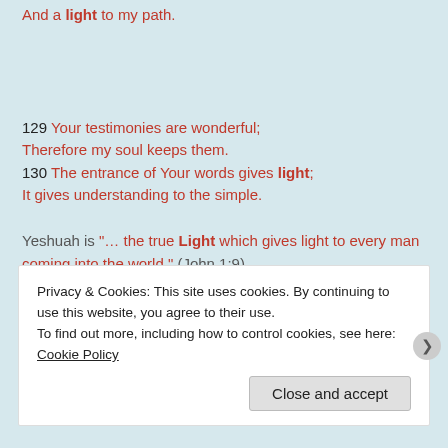And a light to my path.
129 Your testimonies are wonderful; Therefore my soul keeps them. 130 The entrance of Your words gives light; It gives understanding to the simple.
Yeshuah is "… the true Light which gives light to every man coming into the world." (John 1:9)
"I AM the light of the world" (John 8:12; see also 1:9)
Privacy & Cookies: This site uses cookies. By continuing to use this website, you agree to their use. To find out more, including how to control cookies, see here: Cookie Policy
Close and accept